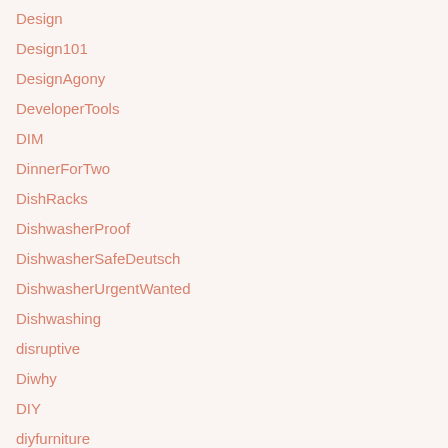Design
Design101
DesignAgony
DeveloperTools
DIM
DinnerForTwo
DishRacks
DishwasherProof
DishwasherSafeDeutsch
DishwasherUrgentWanted
Dishwashing
disruptive
Diwhy
DIY
diyfurniture